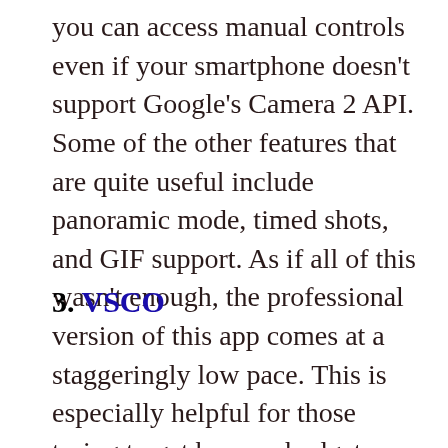you can access manual controls even if your smartphone doesn't support Google's Camera 2 API. Some of the other features that are quite useful include panoramic mode, timed shots, and GIF support. As if all of this wasn't enough, the professional version of this app comes at a staggeringly low pace. This is especially helpful for those trying to get by on a budget.
3. VSCO